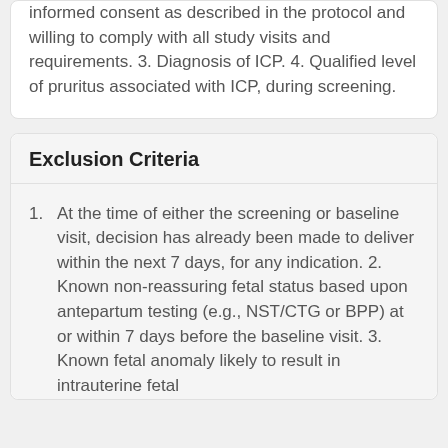informed consent as described in the protocol and willing to comply with all study visits and requirements. 3. Diagnosis of ICP. 4. Qualified level of pruritus associated with ICP, during screening.
Exclusion Criteria
At the time of either the screening or baseline visit, decision has already been made to deliver within the next 7 days, for any indication. 2. Known non-reassuring fetal status based upon antepartum testing (e.g., NST/CTG or BPP) at or within 7 days before the baseline visit. 3. Known fetal anomaly likely to result in intrauterine fetal